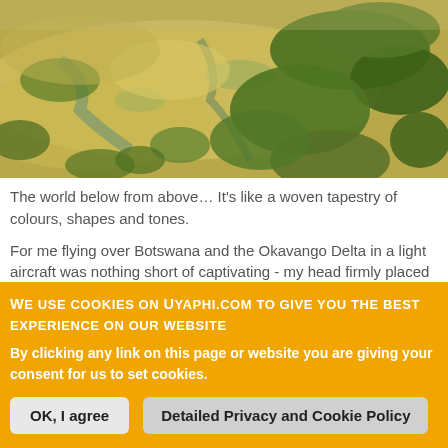[Figure (photo): Aerial view of the Okavango Delta in Botswana showing a woven tapestry of golden grasslands, wetlands, and green tree coverage from above in a light aircraft.]
The world below from above… It's like a woven tapestry of colours, shapes and tones.
For me flying over Botswana and the Okavango Delta in a light aircraft was nothing short of captivating - my head firmly placed against the little windows to try and take it all in. Light Aircraft Flights in Botswana
We use cookies on Uyaphi.com to give you the best experience on our website
By clicking any link on this page or website you are giving your consent for us to set cookies.
OK, I agree
Detailed Privacy and Cookie Policy